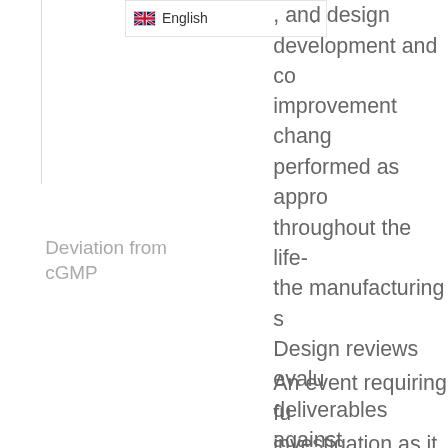[Figure (screenshot): English language selector dropdown UI element with UK flag icon and chevron arrow]
, and design development and co improvement chang performed as appro throughout the life- the manufacturing s Design reviews evalu deliverables against standards and requi identify problems, a propose required co actions
Deviation from cGMP
An event requiring fu investigation as it m the identity, stren